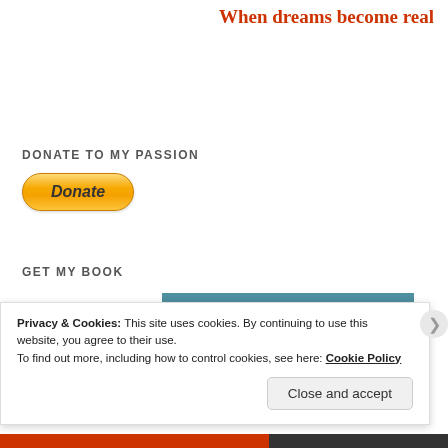When dreams become real
DONATE TO MY PASSION
[Figure (other): PayPal Donate button with golden gradient and rounded rectangle shape]
GET MY BOOK
[Figure (other): Teal/blue-green horizontal bar, partial book cover or banner]
Privacy & Cookies: This site uses cookies. By continuing to use this website, you agree to their use.
To find out more, including how to control cookies, see here: Cookie Policy
Close and accept